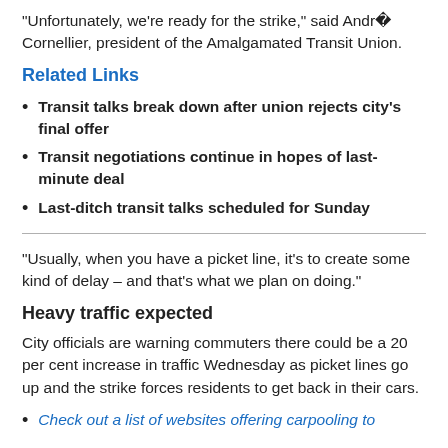"Unfortunately, we're ready for the strike," said André Cornellier, president of the Amalgamated Transit Union.
Related Links
Transit talks break down after union rejects city's final offer
Transit negotiations continue in hopes of last-minute deal
Last-ditch transit talks scheduled for Sunday
"Usually, when you have a picket line, it's to create some kind of delay – and that's what we plan on doing."
Heavy traffic expected
City officials are warning commuters there could be a 20 per cent increase in traffic Wednesday as picket lines go up and the strike forces residents to get back in their cars.
Check out a list of websites offering carpooling to